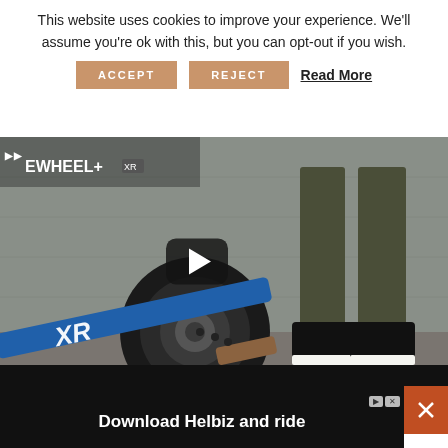This website uses cookies to improve your experience. We'll assume you're ok with this, but you can opt-out if you wish.
ACCEPT    REJECT    Read More
[Figure (photo): Onewheel XR electric skateboard with a large single tire, blue deck with XR logo, shown on pavement with person's legs and shoes visible in background, with a video play button overlay]
[Figure (infographic): Advertisement banner: Download Helbiz and ride, with ad label icons]